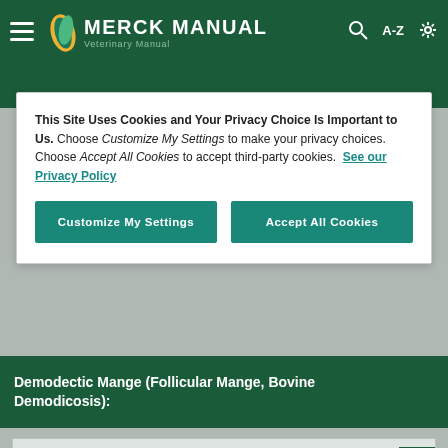MERCK MANUAL
This Site Uses Cookies and Your Privacy Choice Is Important to Us. Choose Customize My Settings to make your privacy choices. Choose Accept All Cookies to accept third-party cookies. See our Privacy Policy
Customize My Settings
Accept All Cookies
Demodectic Mange (Follicular Mange, Bovine Demodicosis):
Demodex bovis, skin lesions
[Figure (photo): Close-up photograph of bovine skin showing Demodex bovis skin lesions on cattle hide]